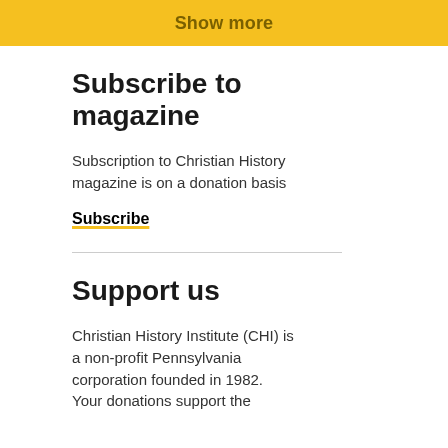Show more
Subscribe to magazine
Subscription to Christian History magazine is on a donation basis
Subscribe
Support us
Christian History Institute (CHI) is a non-profit Pennsylvania corporation founded in 1982. Your donations support the